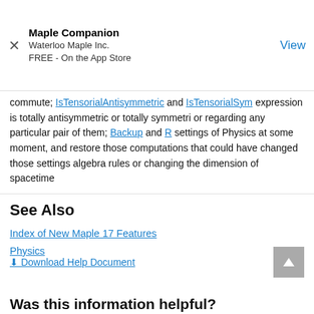Maple Companion
Waterloo Maple Inc.
FREE - On the App Store
View
commute; IsTensorialAntisymmetric and IsTensorialSym... expression is totally antisymmetric or totally symmetri... or regarding any particular pair of them; Backup and R... settings of Physics at some moment, and restore those... computations that could have changed those settings... algebra rules or changing the dimension of spacetime...
See Also
Index of New Maple 17 Features
Physics
Download Help Document
Was this information helpful?